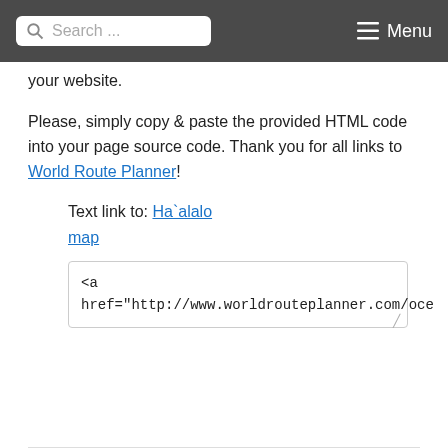Search ... Menu
your website.
Please, simply copy & paste the provided HTML code into your page source code. Thank you for all links to World Route Planner!
Text link to: Ha`alalo map
<a href="http://www.worldrouteplanner.com/oce